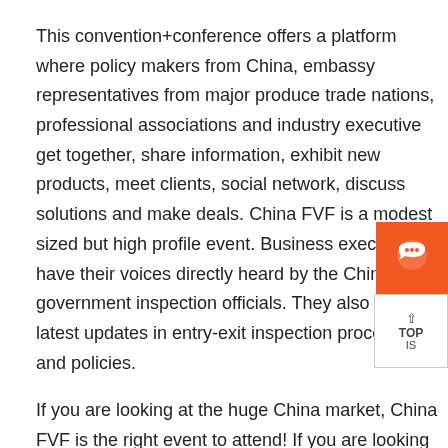This convention+conference offers a platform where policy makers from China, embassy representatives from major produce trade nations, professional associations and industry executive get together, share information, exhibit new products, meet clients, social network, discuss solutions and make deals. China FVF is a modest sized but high profile event. Business executives have their voices directly heard by the Chinese government inspection officials. They also get the latest updates in entry-exit inspection procedures and policies.
If you are looking at the huge China market, China FVF is the right event to attend! If you are looking for protocols for your products to enter China, China FVF is the only event that you can exhibit samples (either with or without protocols) & meet AQSIQ officials, who issue protocols.If you are looking for protocols for your products to enter